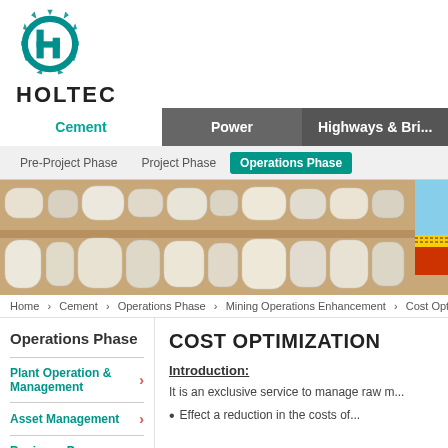[Figure (logo): Holtec company logo: teal gear icon with 'h' letter shape inside, and 'HOLTEC' text below in bold black]
Cement | Power | Highways & Bri...
Pre-Project Phase | Project Phase | Operations Phase
[Figure (photo): Hero image showing rows of white limestone/cement core samples in wooden trays, partially cropped with another image on the right edge]
Home > Cement > Operations Phase > Mining Operations Enhancement > Cost Optim...
Operations Phase
Plant Operation & Management
Asset Management
Business Process Enhancement
COST OPTIMIZATION
Introduction:
It is an exclusive service to manage raw m...
Effect a reduction in the costs of...